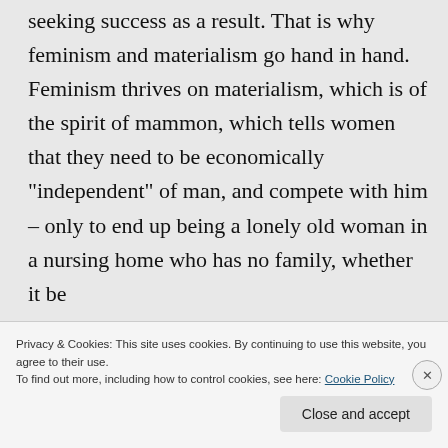seeking success as a result. That is why feminism and materialism go hand in hand. Feminism thrives on materialism, which is of the spirit of mammon, which tells women that they need to be economically "independent" of man, and compete with him – only to end up being a lonely old woman in a nursing home who has no family, whether it be
Privacy & Cookies: This site uses cookies. By continuing to use this website, you agree to their use.
To find out more, including how to control cookies, see here: Cookie Policy